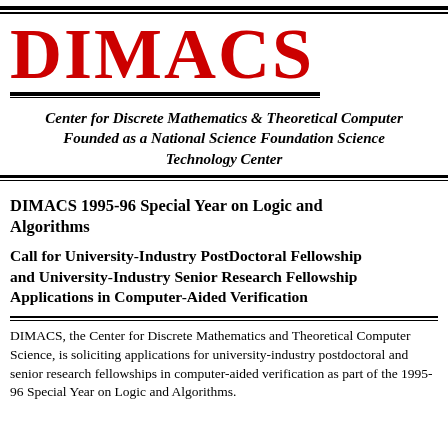DIMACS
Center for Discrete Mathematics & Theoretical Computer Science
Founded as a National Science Foundation Science and Technology Center
DIMACS 1995-96 Special Year on Logic and Algorithms
Call for University-Industry PostDoctoral Fellowship and University-Industry Senior Research Fellowship Applications in Computer-Aided Verification
DIMACS, the Center for Discrete Mathematics and Theoretical Computer Science, is soliciting applications for university-industry postdoctoral and senior research fellowships in computer-aided verification as part of the 1995-96 Special Year on Logic and Algorithms.